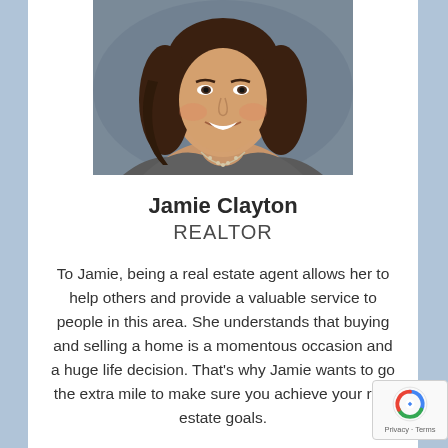[Figure (photo): Professional headshot of Jamie Clayton, a woman with long brown wavy hair, wearing a gray top and a silver necklace, smiling, against a blurred gray-blue background.]
Jamie Clayton
REALTOR
To Jamie, being a real estate agent allows her to help others and provide a valuable service to people in this area. She understands that buying and selling a home is a momentous occasion and a huge life decision. That's why Jamie wants to go the extra mile to make sure you achieve your real estate goals.